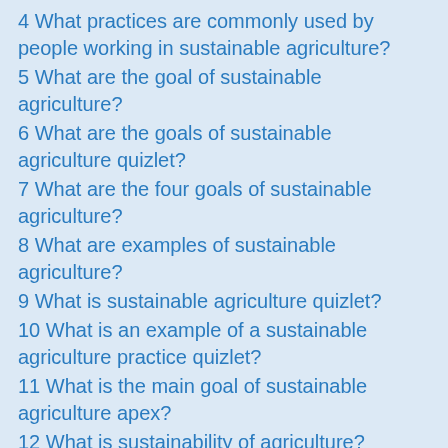4 What practices are commonly used by people working in sustainable agriculture?
5 What are the goal of sustainable agriculture?
6 What are the goals of sustainable agriculture quizlet?
7 What are the four goals of sustainable agriculture?
8 What are examples of sustainable agriculture?
9 What is sustainable agriculture quizlet?
10 What is an example of a sustainable agriculture practice quizlet?
11 What is the main goal of sustainable agriculture apex?
12 What is sustainability of agriculture?
13 What is meant by sustainable agriculture?
14 What are 5 sustainable agricultural